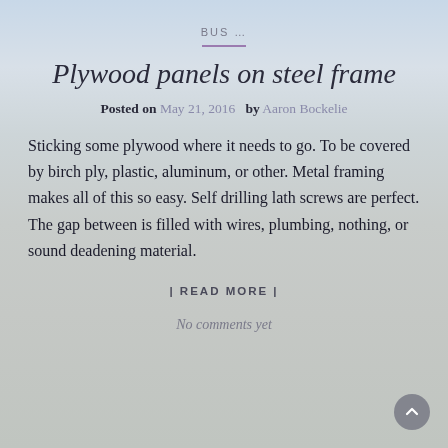BUS ...
Plywood panels on steel frame
Posted on May 21, 2016  by Aaron Bockelie
Sticking some plywood where it needs to go. To be covered by birch ply, plastic, aluminum, or other. Metal framing makes all of this so easy. Self drilling lath screws are perfect. The gap between is filled with wires, plumbing, nothing, or sound deadening material.
| READ MORE |
No comments yet